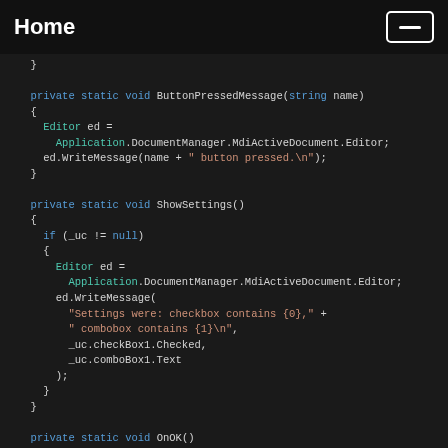Home
[Figure (screenshot): Code editor screenshot showing C# code with syntax highlighting on dark background. Contains three method definitions: ButtonPressedMessage, ShowSettings, and OnOK.]